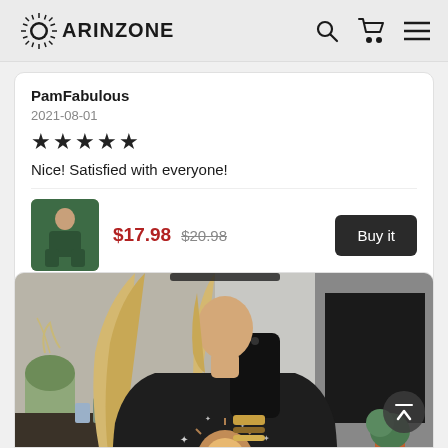ARINZONE
PamFabulous
2021-08-01
★★★★★
Nice! Satisfied with everyone!
$17.98  $20.98
Buy it
[Figure (photo): Woman with long blonde hair wearing a dark t-shirt with sun and stars design, taking a mirror selfie holding a phone, with plants and furniture visible in background]